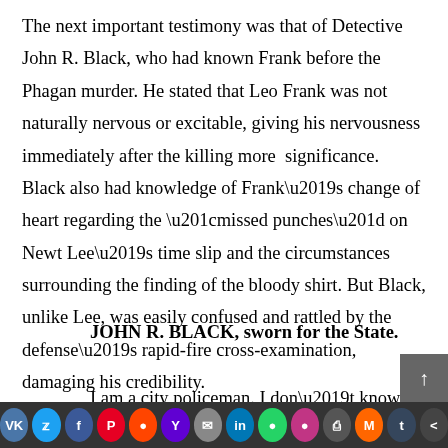The next important testimony was that of Detective John R. Black, who had known Frank before the Phagan murder. He stated that Leo Frank was not naturally nervous or excitable, giving his nervousness immediately after the killing more significance. Black also had knowledge of Frank’s change of heart regarding the “missed punches” on Newt Lee’s time slip and the circumstances surrounding the finding of the bloody shirt. But Black, unlike Lee, was easily confused and rattled by the defense’s rapid-fire cross-examination, damaging his credibility.
JOHN R. BLACK, sworn for the State.
I am a city policeman. I don’t know the details of the